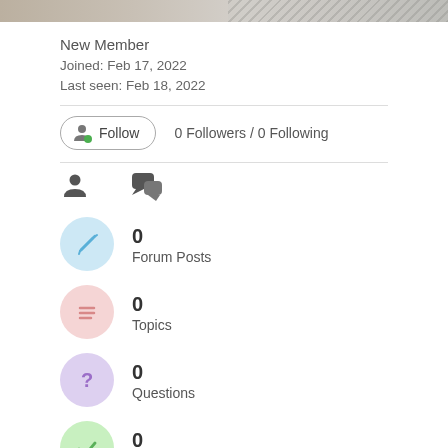[Figure (photo): Partial photo banner at top of page showing blurred background]
New Member
Joined: Feb 17, 2022
Last seen: Feb 18, 2022
[Figure (infographic): Follow button with user icon and green dot, alongside '0 Followers / 0 Following' text]
[Figure (infographic): Two tab icons: person icon and chat bubbles icon]
[Figure (infographic): Blue circle with pencil icon, stat: 0 Forum Posts]
0
Forum Posts
[Figure (infographic): Pink circle with lines/text icon, stat: 0 Topics]
0
Topics
[Figure (infographic): Purple circle with question mark icon, stat: 0 Questions]
0
Questions
[Figure (infographic): Green circle with checkmark icon, stat: 0 Answers]
0
Answers